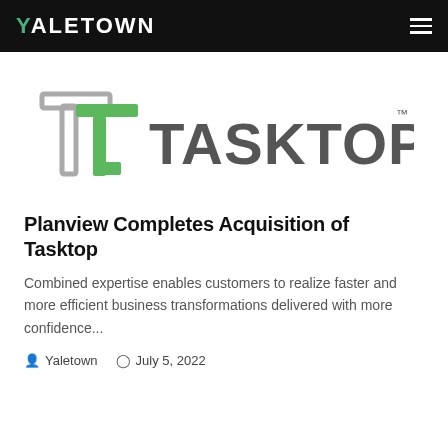YALETOWN
[Figure (logo): Tasktop logo — two interlocking T-shapes in grey and green, followed by the word TASKTOP in dark grey with a TM superscript]
Planview Completes Acquisition of Tasktop
Combined expertise enables customers to realize faster and more efficient business transformations delivered with more confidence...
Yaletown   July 5, 2022